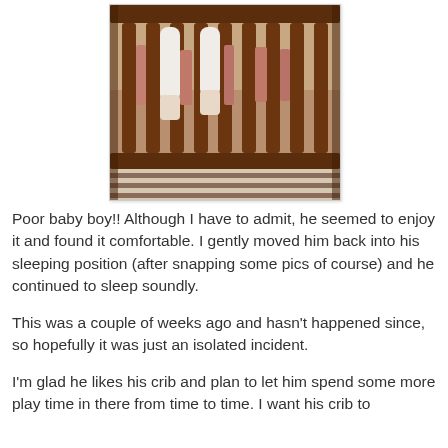[Figure (photo): A photo of a baby crib with wooden dark brown slats. A baby's legs and lower body are visible hanging through the crib slats, with a striped mattress/rug visible at the bottom.]
Poor baby boy!! Although I have to admit, he seemed to enjoy it and found it comfortable. I gently moved him back into his sleeping position (after snapping some pics of course) and he continued to sleep soundly.
This was a couple of weeks ago and hasn't happened since, so hopefully it was just an isolated incident.
I'm glad he likes his crib and plan to let him spend some more play time in there from time to time. I want his crib to